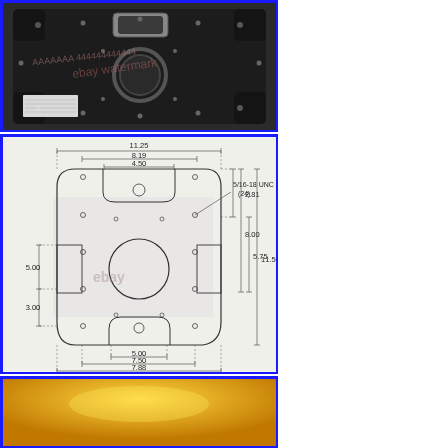[Figure (photo): Photo of the back/underside of a black plastic mounting plate or enclosure with a rectangular cutout at top center, a circular raised ring in the middle, and multiple small holes/studs arranged around the perimeter. An eBay watermark is visible.]
[Figure (engineering-diagram): Technical engineering drawing showing top-down dimensioned view of a mounting plate. Dimensions shown: 11.25 (overall width), 8.19, 4.50 (internal widths); 5/16-18 UNC (24) threaded holes noted; heights: 5.00, 3.00; side: 2.81, 8.00, 5.75, 11.50; bottom: 5.00, 7.50, 7.88. eBay watermark visible.]
[Figure (photo): Partial photo showing a yellow/amber colored surface, likely the front face of an object. Only top portion visible.]